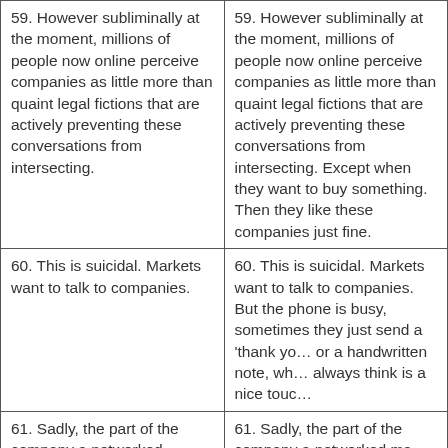| 59. However subliminally at the moment, millions of people now online perceive companies as little more than quaint legal fictions that are actively preventing these conversations from intersecting. | 59. However subliminally at the moment, millions of people now online perceive companies as little more than quaint legal fictions that are actively preventing these conversations from intersecting. Except when they want to buy something. Then they like these companies just fine. |
| 60. This is suicidal. Markets want to talk to companies. | 60. This is suicidal. Markets want to talk to companies. But the phone is busy, sometimes they just send a 'thank you' or a handwritten note, which always think is a nice touch. |
| 61. Sadly, the part of the company a networked market wants to talk to is usually hidden behind a smokescreen of bucksterism, of language that | 61. Sadly, the part of the company a networked market wants to talk to is the good-looking babes stuck in some rotten cubicle doing. Exc... |